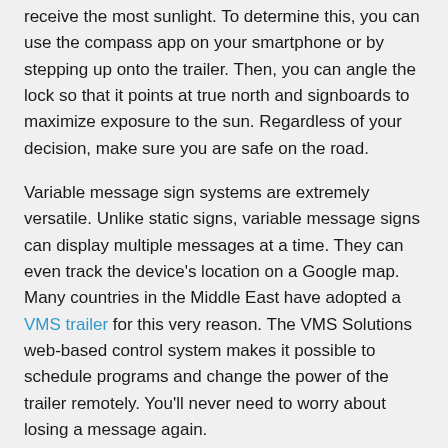receive the most sunlight. To determine this, you can use the compass app on your smartphone or by stepping up onto the trailer. Then, you can angle the lock so that it points at true north and signboards to maximize exposure to the sun. Regardless of your decision, make sure you are safe on the road.
Variable message sign systems are extremely versatile. Unlike static signs, variable message signs can display multiple messages at a time. They can even track the device's location on a Google map. Many countries in the Middle East have adopted a VMS trailer for this very reason. The VMS Solutions web-based control system makes it possible to schedule programs and change the power of the trailer remotely. You'll never need to worry about losing a message again.
Mobile variable message signs are a cost-effective and flexible option for traffic management. They can alert road users of temporary roadworks or changes in traffic flow, as well as upcoming events. Full colour VMS provide excellent resolution